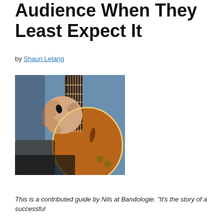Audience When They Least Expect It
by Shaun Letang
[Figure (photo): Close-up photo of a musician's hand playing an electric guitar, showing the fretboard, strings, and the body of an amber/sunburst colored electric guitar against a blue background.]
This is a contributed guide by Nils at Bandologie. “It’s the story of a successful